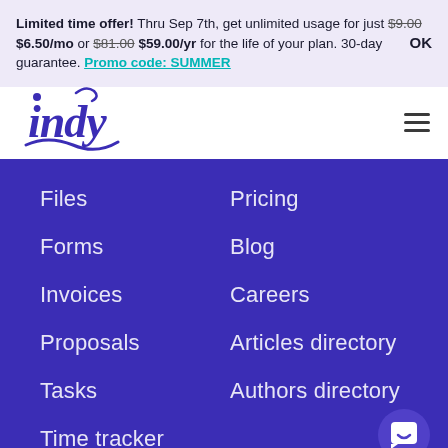Limited time offer! Thru Sep 7th, get unlimited usage for just $9.00 $6.50/mo or $81.00 $59.00/yr for the life of your plan. 30-day guarantee. Promo code: SUMMER  OK
[Figure (logo): Indy logo in purple cursive script]
Files
Pricing
Forms
Blog
Invoices
Careers
Proposals
Articles directory
Tasks
Authors directory
Time tracker